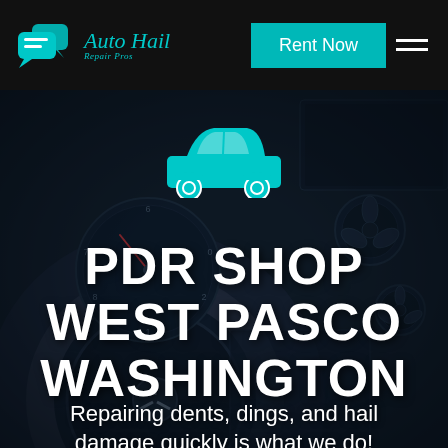[Figure (logo): Auto Hail Repair Pros logo with teal speech bubble car icon and teal italic text]
Rent Now
[Figure (illustration): Dashboard/interior of a dark luxury car with steering wheel and instrument cluster as hero background]
[Figure (illustration): Teal car icon silhouette centered over hero background]
PDR SHOP WEST PASCO WASHINGTON
Repairing dents, dings, and hail damage quickly is what we do!